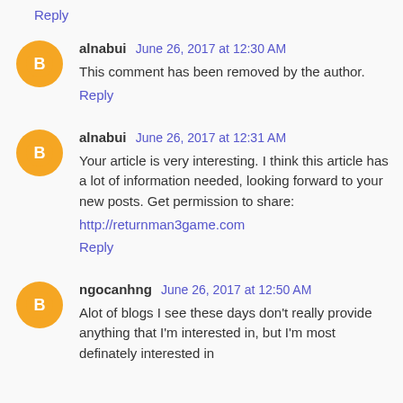Reply
alnabui  June 26, 2017 at 12:30 AM
This comment has been removed by the author.
Reply
alnabui  June 26, 2017 at 12:31 AM
Your article is very interesting. I think this article has a lot of information needed, looking forward to your new posts. Get permission to share:
http://returnman3game.com
Reply
ngocanhng  June 26, 2017 at 12:50 AM
Alot of blogs I see these days don't really provide anything that I'm interested in, but I'm most definately interested in